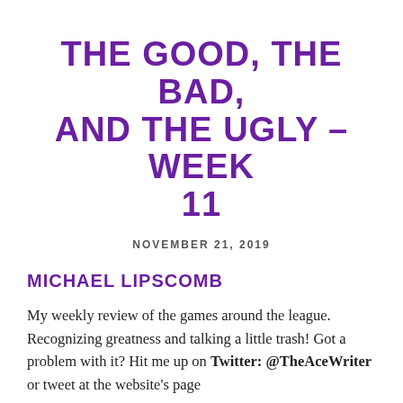THE GOOD, THE BAD, AND THE UGLY – WEEK 11
NOVEMBER 21, 2019
MICHAEL LIPSCOMB
My weekly review of the games around the league. Recognizing greatness and talking a little trash! Got a problem with it? Hit me up on Twitter: @TheAceWriter or tweet at the website's page